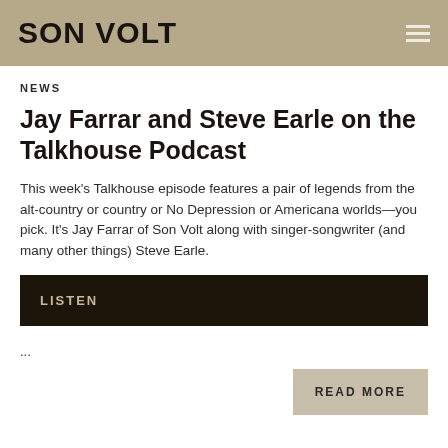SON VOLT
NEWS
Jay Farrar and Steve Earle on the Talkhouse Podcast
This week's Talkhouse episode features a pair of legends from the alt-country or country or No Depression or Americana worlds—you pick. It's Jay Farrar of Son Volt along with singer-songwriter (and many other things) Steve Earle.
LISTEN
...
READ MORE